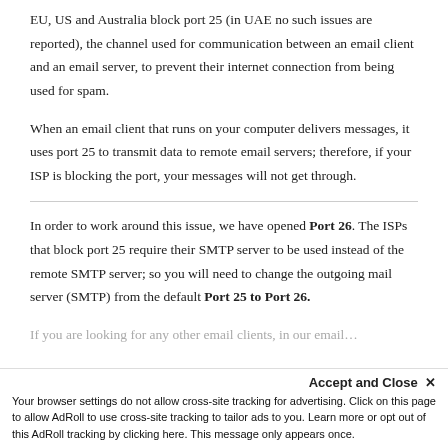EU, US and Australia block port 25 (in UAE no such issues are reported), the channel used for communication between an email client and an email server, to prevent their internet connection from being used for spam.
When an email client that runs on your computer delivers messages, it uses port 25 to transmit data to remote email servers; therefore, if your ISP is blocking the port, your messages will not get through.
In order to work around this issue, we have opened Port 26. The ISPs that block port 25 require their SMTP server to be used instead of the remote SMTP server; so you will need to change the outgoing mail server (SMTP) from the default Port 25 to Port 26.
If you are looking for any other email clients, in our email...
Accept and Close ✕
Your browser settings do not allow cross-site tracking for advertising. Click on this page to allow AdRoll to use cross-site tracking to tailor ads to you. Learn more or opt out of this AdRoll tracking by clicking here. This message only appears once.